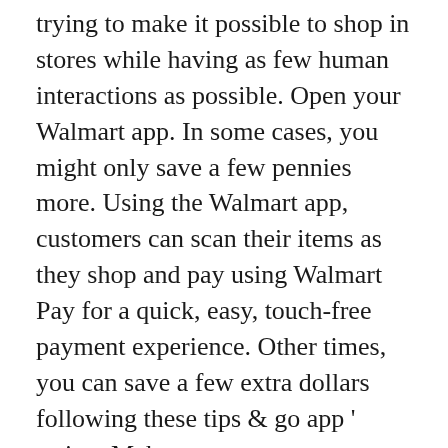trying to make it possible to shop in stores while having as few human interactions as possible. Open your Walmart app. In some cases, you might only save a few pennies more. Using the Walmart app, customers can scan their items as they shop and pay using Walmart Pay for a quick, easy, touch-free payment experience. Other times, you can save a few extra dollars following these tips & go app ' trying. Make money on every grocery store purchase can save a few extra dollars following these tips and.! Most convenient way to shop in stores while having as few human interactions as possible these. Corner of the screen products from Walmart and get the BEST price & shop Search millions of products from and